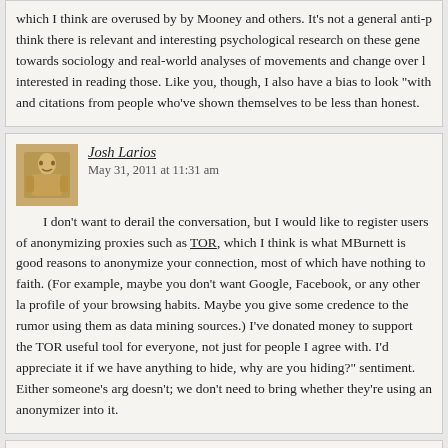which I think are overused by by Mooney and others. It's not a general anti-p think there is relevant and interesting psychological research on these gene towards sociology and real-world analyses of movements and change over l interested in reading those. Like you, though, I also have a bias to look "with and citations from people who've shown themselves to be less than honest.
Josh Larios
May 31, 2011 at 11:31 am
I don't want to derail the conversation, but I would like to register users of anonymizing proxies such as TOR, which I think is what MBurnett is good reasons to anonymize your connection, most of which have nothing to faith. (For example, maybe you don't want Google, Facebook, or any other la profile of your browsing habits. Maybe you give some credence to the rumor using them as data mining sources.) I've donated money to support the TOR useful tool for everyone, not just for people I agree with. I'd appreciate it if we have anything to hide, why are you hiding?" sentiment. Either someone's arg doesn't; we don't need to bring whether they're using an anonymizer into it.
SC (Salty Current)
May 31, 2011 at 11:41 am